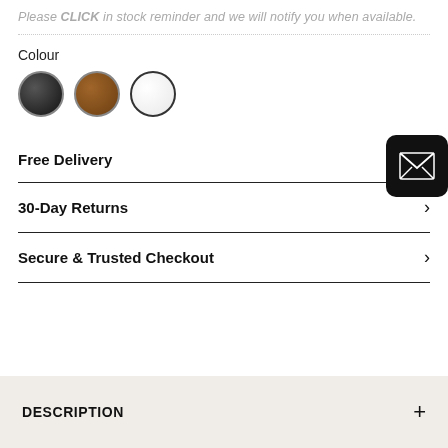Please CLICK in stock reminder and we will notify you when available.
Colour
[Figure (illustration): Three colour swatches: black, brown, and white/light grey circles]
Free Delivery
30-Day Returns
Secure & Trusted Checkout
DESCRIPTION